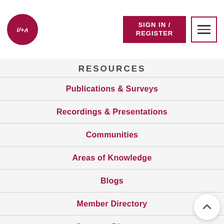[Figure (logo): i/+A logo in a dark red circle with white text]
SIGN IN / REGISTER
RESOURCES
Publications & Surveys
Recordings & Presentations
Communities
Areas of Knowledge
Blogs
Member Directory
Sponsor Directory
Career Center
LegalSEC